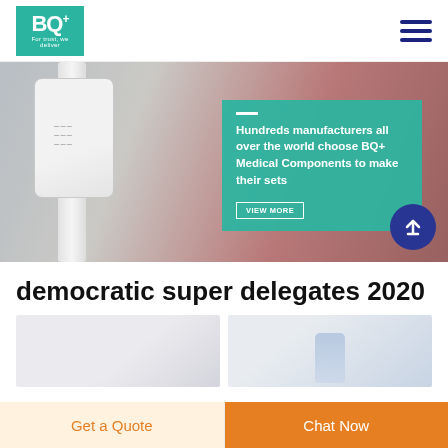[Figure (logo): BQ+ logo with green background and tagline 'For trust, we deliver']
[Figure (photo): Medical IV drip chamber and tubing close-up photo with red/blurred background. Teal overlay box reads: 'Hundreds manufacturers all over the world choose BQ+ Medical Components to make their sets' with a VIEW MORE button. A dark blue circle with up arrow is visible bottom right.]
democratic super delegates 2020
[Figure (photo): Two side-by-side product images: left shows a light grey/white product photo; right shows a blue medical connector/needle component.]
Get a Quote
Chat Now